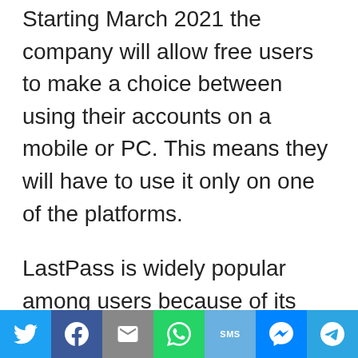Starting March 2021 the company will allow free users to make a choice between using their accounts on a mobile or PC. This means they will have to use it only on one of the platforms.
LastPass is widely popular among users because of its security features. It comes with a clean simple user interface, a free VPN, and Dark web monitoring.
Today we would like to present you with some free LastPass alternatives for Android and iOS...
[Figure (infographic): Social sharing bar with icons for Twitter, Facebook, Email, WhatsApp, SMS, Messenger, and Telegram]